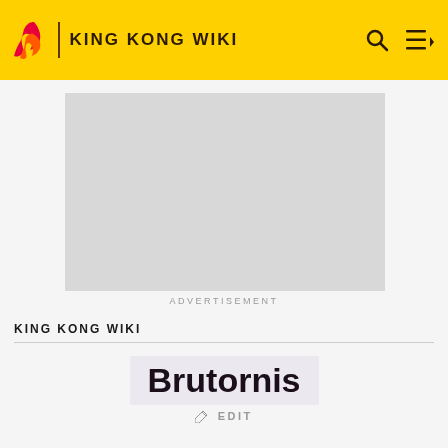KING KONG WIKI
[Figure (other): Gray advertisement placeholder rectangle]
ADVERTISEMENT
KING KONG WIKI
Brutornis
EDIT